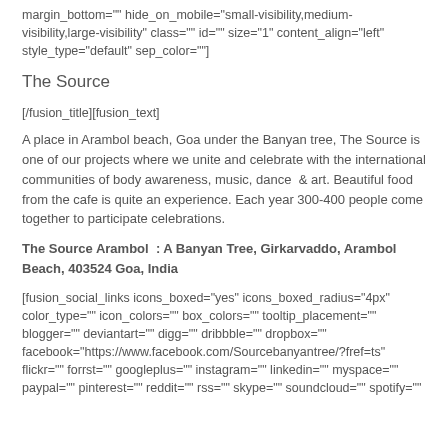margin_bottom="" hide_on_mobile="small-visibility,medium-visibility,large-visibility" class="" id="" size="1" content_align="left" style_type="default" sep_color=""]
The Source
[/fusion_title][fusion_text]
A place in Arambol beach, Goa under the Banyan tree, The Source is one of our projects where we unite and celebrate with the international communities of body awareness, music, dance  &  art. Beautiful food from the cafe is quite an experience. Each year 300-400 people come together to participate celebrations.
The Source Arambol  : A Banyan Tree, Girkarvaddo, Arambol Beach, 403524 Goa, India
[fusion_social_links icons_boxed="yes" icons_boxed_radius="4px" color_type="" icon_colors="" box_colors="" tooltip_placement="" blogger="" deviantart="" digg="" dribbble="" dropbox="" facebook="https://www.facebook.com/Sourcebanyantree/?fref=ts" flickr="" forrst="" googleplus="" instagram="" linkedin="" myspace="" paypal="" pinterest="" reddit="" rss="" skype="" soundcloud="" spotify=""